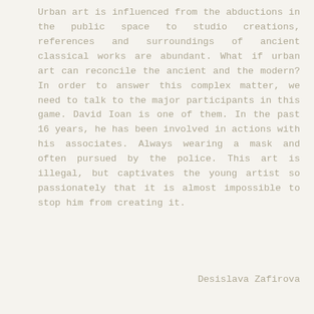Urban art is influenced from the abductions in the public space to studio creations, references and surroundings of ancient classical works are abundant. What if urban art can reconcile the ancient and the modern? In order to answer this complex matter, we need to talk to the major participants in this game. David Ioan is one of them. In the past 16 years, he has been involved in actions with his associates. Always wearing a mask and often pursued by the police. This art is illegal, but captivates the young artist so passionately that it is almost impossible to stop him from creating it.
Desislava Zafirova